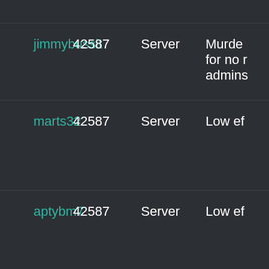| Username | ID | Type | Reason |
| --- | --- | --- | --- |
| jimmybussit | 42587 | Server | Murde... for no r... admins... |
| marts32 | 42587 | Server | Low ef... |
| aptybm7 | 42587 | Server | Low ef... |
| col3manstove | 42582 | Server | Griefer... |
| kivihe | 42582 | Server | Our fa... |
| hocibem | 42581 | Server | Alt of t... |